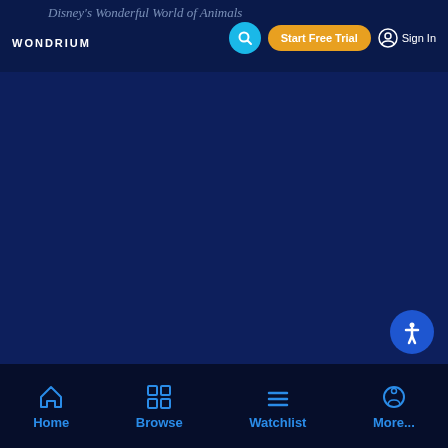WONDRIUM | Disney's Wonderful World of Animals
[Figure (screenshot): Wondrium streaming app navigation bar with logo, search icon, Start Free Trial button, and Sign In option on dark navy background]
[Figure (screenshot): Large dark navy blue content area — main video/content viewing region of the Wondrium app, currently empty/loading]
[Figure (screenshot): Accessibility button (wheelchair icon) in blue circle, bottom right corner]
[Figure (screenshot): Bottom navigation bar with Home, Browse, Watchlist, More... items in blue on dark background]